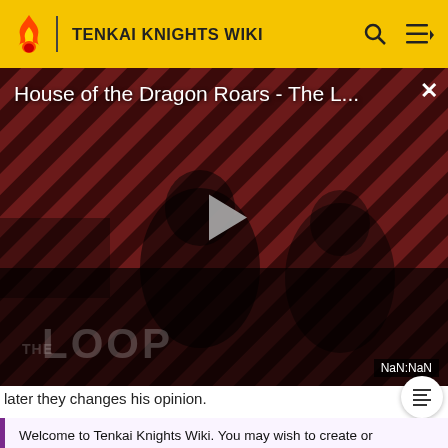TENKAI KNIGHTS WIKI
[Figure (screenshot): Video player showing 'House of the Dragon Roars - The L...' with diagonal red/dark stripe background, play button in center, 'THE LOOP' text watermark, and NaN:NaN timestamp badge]
later they changes his opinion.
Welcome to Tenkai Knights Wiki. You may wish to create or login to an account in order to have full editing access to this wiki.